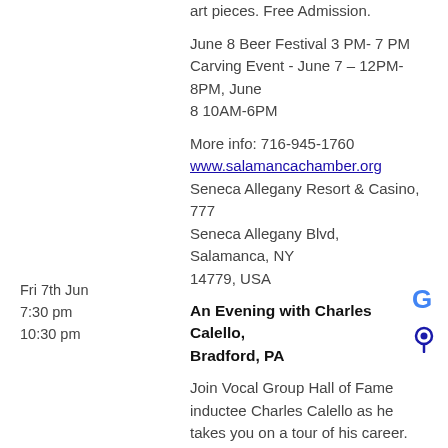art pieces. Free Admission.
June 8 Beer Festival 3 PM- 7 PM
Carving Event - June 7 – 12PM-8PM, June 8 10AM-6PM
More info: 716-945-1760
www.salamancachamber.org
Seneca Allegany Resort & Casino, 777 Seneca Allegany Blvd, Salamanca, NY 14779, USA
Fri 7th Jun
7:30 pm
10:30 pm
An Evening with Charles Calello, Bradford, PA
Join Vocal Group Hall of Fame inductee Charles Calello as he takes you on a tour of his career. Charles Calello amassed 15 Grammy Award nominations and performed or otherwise contributed to 101 Billboard Chart Hits — from Frankie Valli to Frank Sinatra and Neil Diamond to Barbara Streisand. $40.